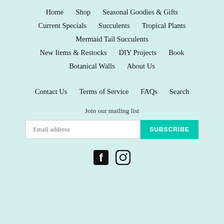Home
Shop
Seasonal Goodies & Gifts
Current Specials
Succulents
Tropical Plants
Mermaid Tail Succulents
New Items & Restocks
DIY Projects
Book
Botanical Walls
About Us
Contact Us
Terms of Service
FAQs
Search
Join our mailing list
[Figure (infographic): Email subscription form with input field placeholder 'Email address' and teal SUBSCRIBE button]
[Figure (infographic): Facebook and Instagram social media icons]